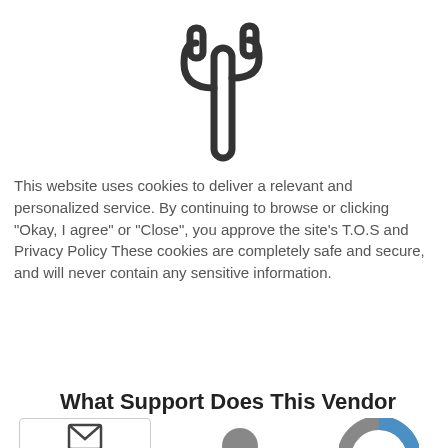[Figure (logo): Cactus outline icon in dark gray/black strokes, centered at top of page]
This website uses cookies to deliver a relevant and personalized service. By continuing to browse or clicking "Okay, I agree" or "Close", you approve the site's T.O.S and Privacy Policy These cookies are completely safe and secure, and will never contain any sensitive information.
accept cookies
What Support Does This Vendor Offer?
[Figure (infographic): Three support icons at bottom: mail envelope icon with 'Mail' label in a bordered box, a person/avatar icon (gray), and a donut/pie chart icon (gray and blue)]